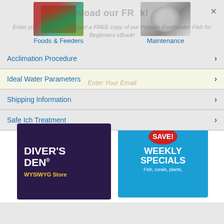[Figure (screenshot): Two product category images: fish food package on left, equipment/maintenance item on right]
Foods & Feeders
Maintenance
nload our FR k!
Enter your email to download a FREE copy of our Popular Freshwater Fish for Beginners eBook!
Acclimation Procedure
Enter Your Email
Ideal Water Parameters
Shipping Information
Safe Ich Treatment
More Aquatic Life
[Figure (illustration): Diver's Den WYSIWYG Store advertisement card with dark purple/blue background]
[Figure (illustration): SAVE! WEEKLY SPECIALS Fish, corals, plants advertisement card with blue background and red badge]